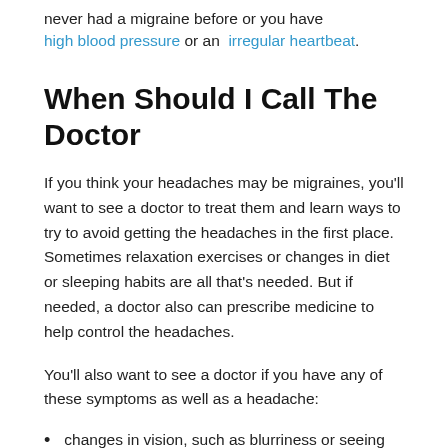never had a migraine before or you have high blood pressure or an irregular heartbeat.
When Should I Call The Doctor
If you think your headaches may be migraines, you'll want to see a doctor to treat them and learn ways to try to avoid getting the headaches in the first place. Sometimes relaxation exercises or changes in diet or sleeping habits are all that's needed. But if needed, a doctor also can prescribe medicine to help control the headaches.
You'll also want to see a doctor if you have any of these symptoms as well as a headache:
changes in vision, such as blurriness or seeing spots